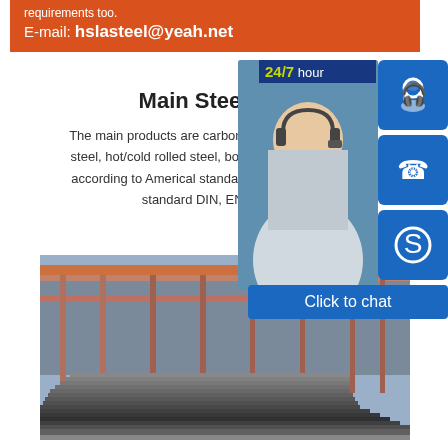requirements too.
E-mail: hslasteel@yeah.net
Main Steel Gra...
The main products are carbon steel, wear plate... steel, hot/cold rolled steel, boiler steel, mild ste... according to Americal standard ASTM, Japane... standard DIN, EN, etc...
[Figure (photo): Customer service representative with headset smiling at camera, overlaid with 24/7 hour label and blue icon boxes for headset, phone, and Skype, plus Click to chat button]
[Figure (photo): Steel sheets stacked in a warehouse with industrial crane structure visible]